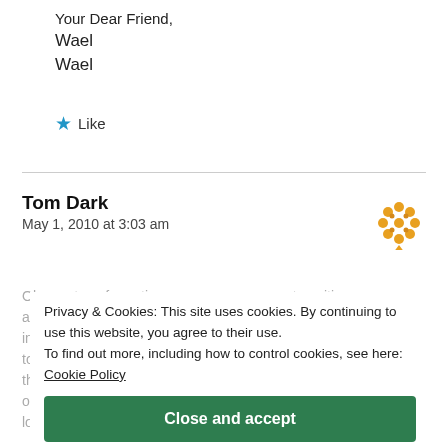Your Dear Friend,
Wael
Wael
★ Like
Tom Dark
May 1, 2010 at 3:03 am
Oh yes, transformations, new emergences, transitions, a psychological snake shedding his psychological skin in the name of psychological times, that is so. It's plain to see everyone does this, but few pay attention to their own changes. What is so wrong with knowing o... long story.
Privacy & Cookies: This site uses cookies. By continuing to use this website, you agree to their use.
To find out more, including how to control cookies, see here:
Cookie Policy
Close and accept